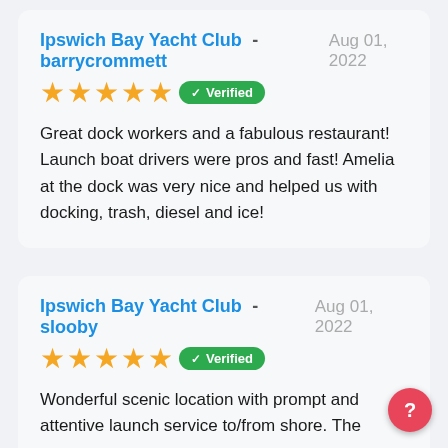Ipswich Bay Yacht Club - barrycrommett Aug 01, 2022 ★★★★★ ✔ Verified Great dock workers and a fabulous restaurant! Launch boat drivers were pros and fast! Amelia at the dock was very nice and helped us with docking, trash, diesel and ice!
Ipswich Bay Yacht Club - slooby Aug 01, 2022 ★★★★★ ✔ Verified Wonderful scenic location with prompt and attentive launch service to/from shore. The